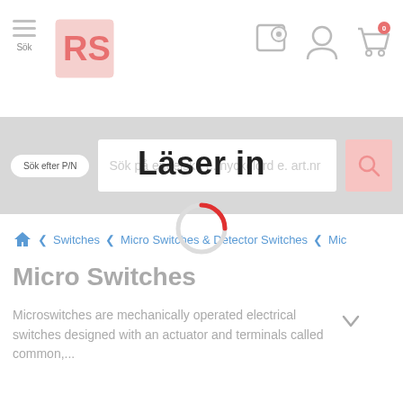[Figure (screenshot): RS Components website header with hamburger menu, RS logo, location icon, user icon, and cart icon with 0 badge]
[Figure (screenshot): Search bar with 'Sök efter P/N' toggle, text input placeholder 'Sök på engelska e. nyckelord e. art.nr' and pink search button]
Switches  Micro Switches & Detector Switches  Mic
Micro Switches
Microswitches are mechanically operated electrical switches designed with an actuator and terminals called common,...
[Figure (other): Loading overlay with 'Läser in' text and spinning loader circle]
Filter
Sortera efter